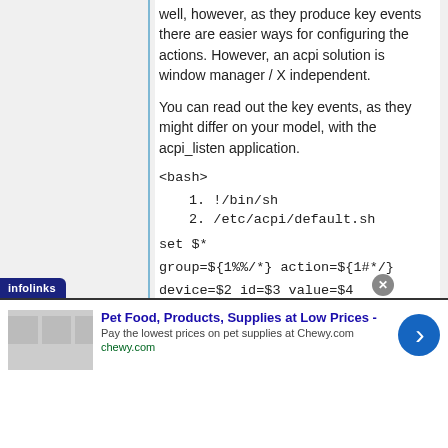well, however, as they produce key events there are easier ways for configuring the actions. However, an acpi solution is window manager / X independent.
You can read out the key events, as they might differ on your model, with the acpi_listen application.
<bash>
1. !/bin/sh
2. /etc/acpi/default.sh
set $*
group=${1%%/*} action=${1#*/}
device=$2 id=$3 value=$4